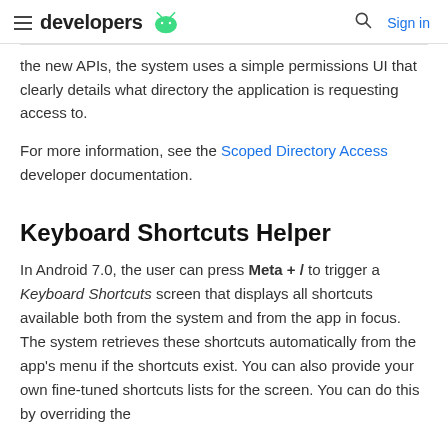developers [android logo] | [search icon] Sign in
the new APIs, the system uses a simple permissions UI that clearly details what directory the application is requesting access to.
For more information, see the Scoped Directory Access developer documentation.
Keyboard Shortcuts Helper
In Android 7.0, the user can press Meta + / to trigger a Keyboard Shortcuts screen that displays all shortcuts available both from the system and from the app in focus. The system retrieves these shortcuts automatically from the app's menu if the shortcuts exist. You can also provide your own fine-tuned shortcuts lists for the screen. You can do this by overriding the